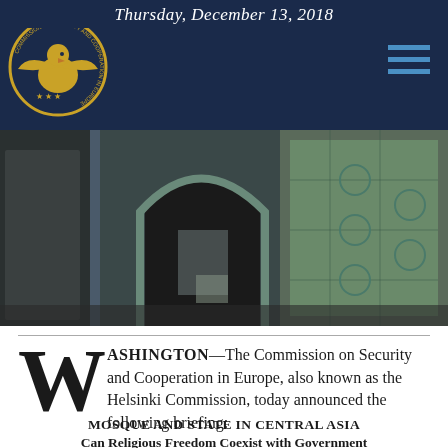Thursday, December 13, 2018
[Figure (photo): Photograph of an ornate mosque entrance with Islamic tile work and arched doorway, Central Asia]
WASHINGTON—The Commission on Security and Cooperation in Europe, also known as the Helsinki Commission, today announced the following briefing:
MOSQUE AND STATE IN CENTRAL ASIA
Can Religious Freedom Coexist with Government